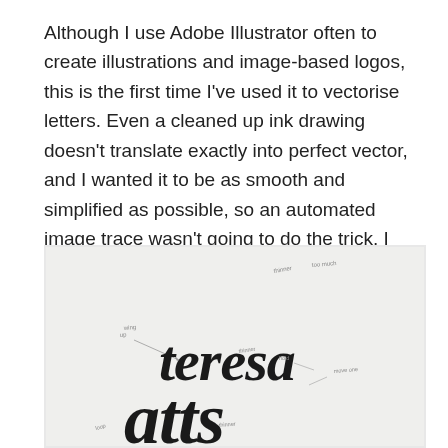Although I use Adobe Illustrator often to create illustrations and image-based logos, this is the first time I've used it to vectorise letters. Even a cleaned up ink drawing doesn't translate exactly into perfect vector, and I wanted it to be as smooth and simplified as possible, so an automated image trace wasn't going to do the trick. I spent a lot of time agonising over getting the anchors and curves so that they flowed exactly right, but learned a lot to make the process faster next time!
[Figure (photo): A photograph of a hand-drawn lettering sketch on white paper showing the words 'teresa' and partially 'atts' (likely 'watts') in a flowing script style, with handwritten annotation notes and arrows indicating design adjustments around the letterforms.]